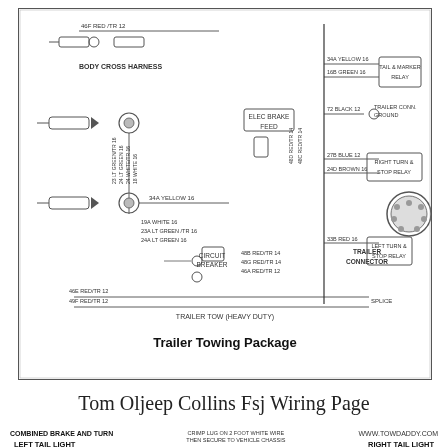[Figure (schematic): Trailer towing wiring harness schematic showing trailer connector, tail & marker relay, right turn & stop relay, left turn & stop relay, trailer conn. ground, body cross harness, electric brake feed, circuit breaker, splice, and labeled wires including 46F RED/TR 12, 34A YELLOW 16, 16B GREEN 16, 48D RED/TR 14, 72 BLACK 12, 27B BLUE 12, 24D BROWN 16, 48C RED/TR 14, 33B RED 16, 48B RED/TR 14, 48G RED/TR 14, 46A RED/TR 12, 46E RED/TR 12, 49F RED/TR 12, 23 LT GREEN/TR 16, 24 LT GREEN 16, 24 WHITE/TR 16, 18 WHITE 16, 34A YELLOW 16, 19A WHITE 16, 23A LT GREEN/TR 16, 24A LT GREEN 16. Title: Trailer Towing Package. Bottom label: TRAILER TOW (HEAVY DUTY)]
Tom Oljeep Collins Fsj Wiring Page
COMBINED BRAKE AND TURN
LEFT TAIL LIGHT
CRIMP LUG ON 2 FOOT WHITE WIRE THEN SECURE TO VEHICLE CHASSIS
WWW.TOWDADDY.COM
RIGHT TAIL LIGHT